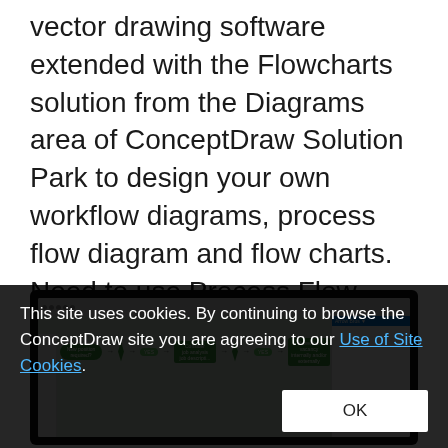ConceptDraw PRO diagramming and vector drawing software extended with the Flowcharts solution from the Diagrams area of ConceptDraw Solution Park to design your own workflow diagrams, process flow diagram and flow charts. Need to use Process Flow Diagram for designing Warehouse packages flow.
[Figure (screenshot): Screenshot of ConceptDraw PRO application showing a flowchart with green process boxes and diamond decision shapes connected by arrows, with a toolbar at the top and a panel on the right side.]
This site uses cookies. By continuing to browse the ConceptDraw site you are agreeing to our Use of Site Cookies.